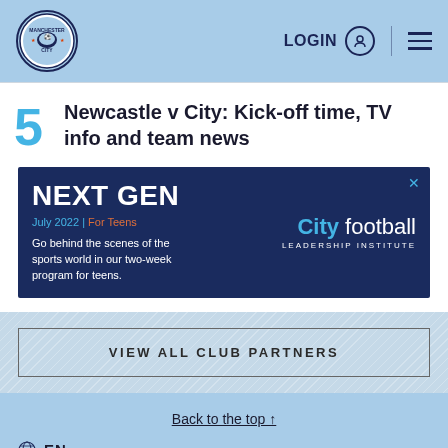Manchester City - LOGIN - Menu
5 Newcastle v City: Kick-off time, TV info and team news
[Figure (screenshot): NEXT GEN advertisement banner for City football Leadership Institute. July 2022 | For Teens. Go behind the scenes of the sports world in our two-week program for teens.]
VIEW ALL CLUB PARTNERS
Back to the top ↑
EN